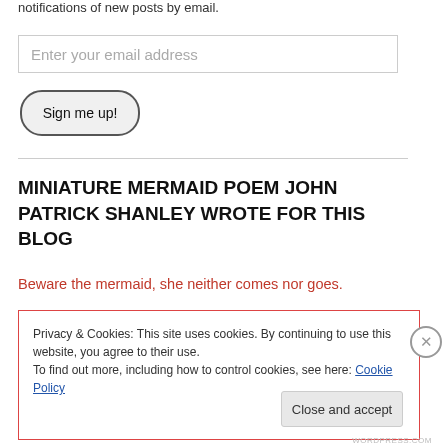notifications of new posts by email.
Enter your email address
Sign me up!
MINIATURE MERMAID POEM JOHN PATRICK SHANLEY WROTE FOR THIS BLOG
Beware the mermaid, she neither comes nor goes.
Privacy & Cookies: This site uses cookies. By continuing to use this website, you agree to their use.
To find out more, including how to control cookies, see here: Cookie Policy
Close and accept